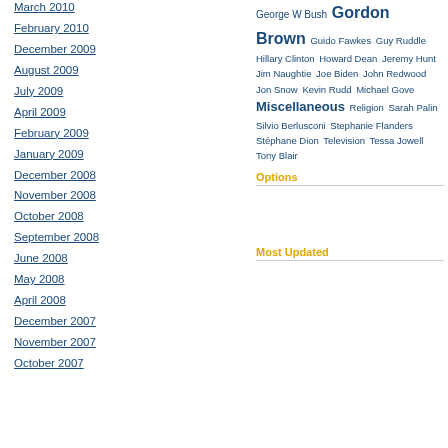March 2010
February 2010
December 2009
August 2009
July 2009
April 2009
February 2009
January 2009
December 2008
November 2008
October 2008
September 2008
June 2008
May 2008
April 2008
December 2007
November 2007
October 2007
George W Bush Gordon Brown Guido Fawkes Guy Ruddle Hillary Clinton Howard Dean Jeremy Hunt Jim Naughtie Joe Biden John Redwood Jon Snow Kevin Rudd Michael Gove Miscellaneous Religion Sarah Palin Silvio Berlusconi Stephanie Flanders Stéphane Dion Television Tessa Jowell Tony Blair
Options
Most Updated